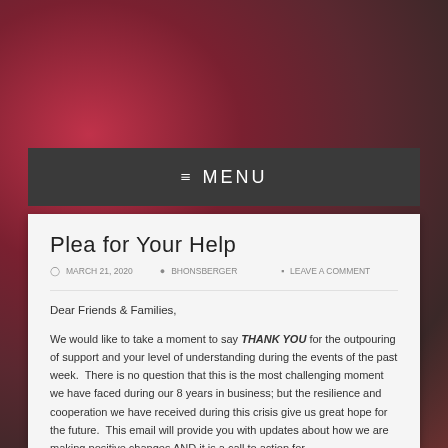≡ MENU
Plea for Your Help
MARCH 21, 2020  BHONSBERGER  LEAVE A COMMENT
Dear Friends & Families,
We would like to take a moment to say THANK YOU for the outpouring of support and your level of understanding during the events of the past week.  There is no question that this is the most challenging moment we have faced during our 8 years in business; but the resilience and cooperation we have received during this crisis give us great hope for the future.  This email will provide you with updates about how we are making positive changes AND it is a call to action for